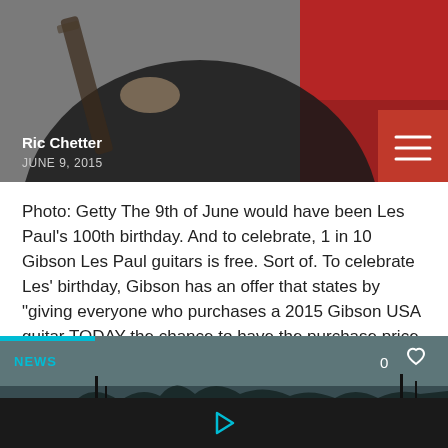[Figure (photo): Photo of person playing guitar with red background, partially cropped]
Ric Chetter
JUNE 9, 2015
Photo: Getty The 9th of June would have been Les Paul's 100th birthday. And to celebrate, 1 in 10 Gibson Les Paul guitars is free. Sort of. To celebrate Les' birthday, Gibson has an offer that states by "giving everyone who purchases a 2015 Gibson USA guitar TODAY the chance to have the purchase price [...]
[Figure (photo): Dark landscape/cityscape silhouette image with NEWS tag and heart icon showing 0 likes]